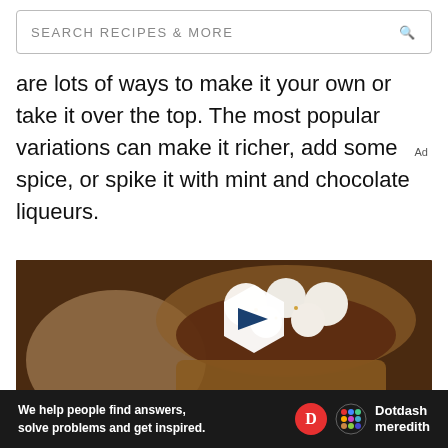SEARCH RECIPES & MORE
are lots of ways to make it your own or take it over the top. The most popular variations can make it richer, add some spice, or spike it with mint and chocolate liqueurs.
[Figure (photo): Hot chocolate in a ceramic mug topped with mini marshmallows, with a play button overlay and 'WATCH THIS' text label]
We help people find answers, solve problems and get inspired.